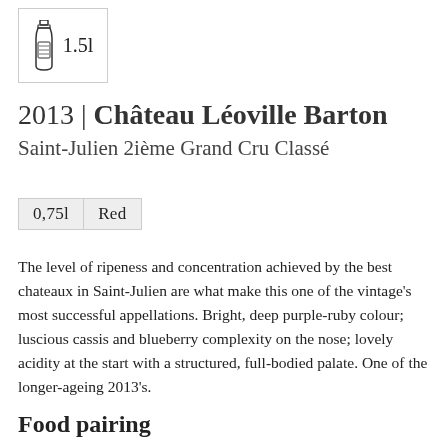[Figure (illustration): Wine bottle icon with '1.5l' label inside a bordered box]
2013 | Château Léoville Barton
Saint-Julien 2ième Grand Cru Classé
0,75l   Red
The level of ripeness and concentration achieved by the best chateaux in Saint-Julien are what make this one of the vintage's most successful appellations. Bright, deep purple-ruby colour; luscious cassis and blueberry complexity on the nose; lovely acidity at the start with a structured, full-bodied palate. One of the longer-ageing 2013's.
Food pairing